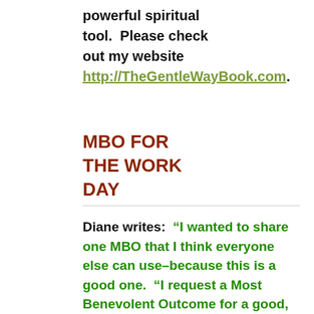powerful spiritual tool.  Please check out my website http://TheGentleWayBook.com.
MBO FOR THE WORK DAY
Diane writes:  “I wanted to share one MBO that I think everyone   else can use–because this is a good one.  “I request a Most Benevolent Outcome for a good, happy, productive, pleasant day at work,